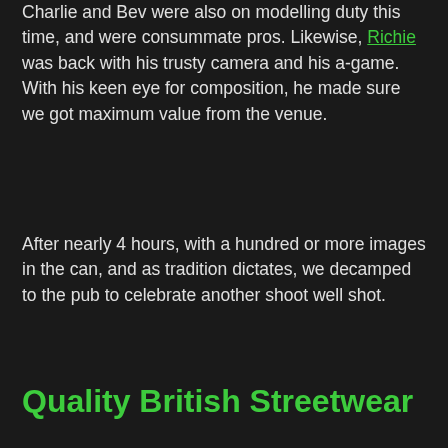Charlie and Bev were also on modelling duty this time, and were consummate pros. Likewise, Richie was back with his trusty camera and his a-game. With his keen eye for composition, he made sure we got maximum value from the venue.
After nearly 4 hours, with a hundred or more images in the can, and as tradition dictates, we decamped to the pub to celebrate another shoot well shot.
Quality British Streetwear
For this latest collection of funky tees, our designers have each taken a different approach to the (admittedly loose) theme of 'headspace'.
Each design element was first hand-drawn, then scanned into the computer and set up for printing. We're really pleased with how this has captured the textures and detailing of the original sketches.